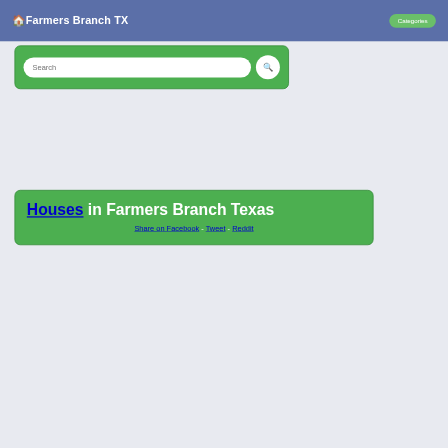🏠Farmers Branch TX  Categories
[Figure (screenshot): Search bar with green background and a search button]
Houses in Farmers Branch Texas
Share on Facebook - Tweet - Reddit